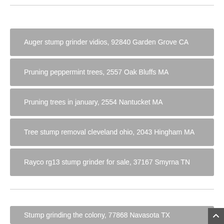Auger stump grinder vidios, 92840 Garden Grove CA
Pruning peppermint trees, 2557 Oak Bluffs MA
Pruning trees in january, 2554 Nantucket MA
Tree stump removal cleveland ohio, 2043 Hingham MA
Rayco rg13 stump grinder for sale, 37167 Smyrna TN
Stump grinding the colony, 77868 Navasota TX